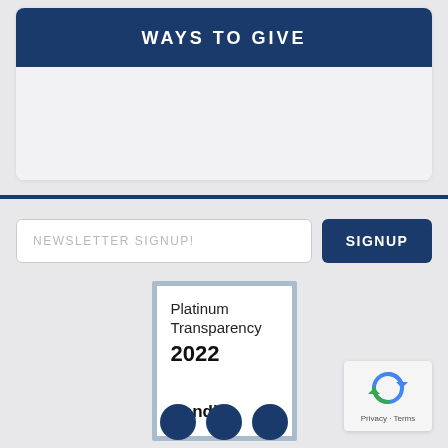WAYS TO GIVE
NEWSLETTER SIGNUP!
SIGNUP
[Figure (logo): Platinum Transparency 2022 Candid. badge — white background with light blue border, text reads 'Platinum Transparency 2022' and 'Candid.']
[Figure (other): reCAPTCHA widget showing a reload/robot icon with 'Privacy - Terms' text below]
[Figure (other): Three dark blue circular social media icon buttons at bottom center]